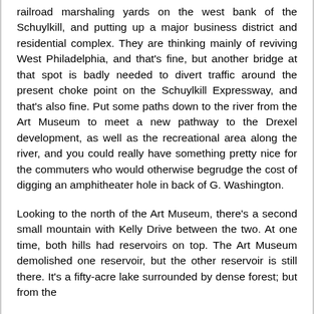railroad marshaling yards on the west bank of the Schuylkill, and putting up a major business district and residential complex. They are thinking mainly of reviving West Philadelphia, and that's fine, but another bridge at that spot is badly needed to divert traffic around the present choke point on the Schuylkill Expressway, and that's also fine. Put some paths down to the river from the Art Museum to meet a new pathway to the Drexel development, as well as the recreational area along the river, and you could really have something pretty nice for the commuters who would otherwise begrudge the cost of digging an amphitheater hole in back of G. Washington.
Looking to the north of the Art Museum, there's a second small mountain with Kelly Drive between the two. At one time, both hills had reservoirs on top. The Art Museum demolished one reservoir, but the other reservoir is still there. It's a fifty-acre lake surrounded by dense forest; but from the